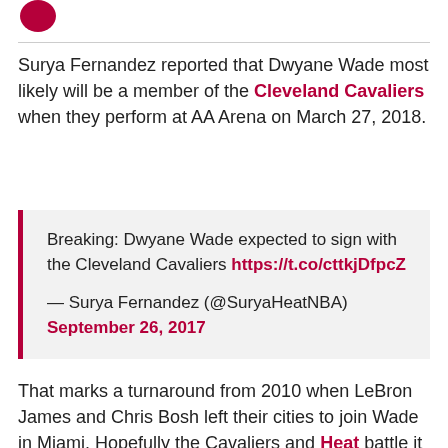[Figure (logo): Partial circular logo in dark red/maroon at top left]
Surya Fernandez reported that Dwyane Wade most likely will be a member of the Cleveland Cavaliers when they perform at AA Arena on March 27, 2018.
Breaking: Dwyane Wade expected to sign with the Cleveland Cavaliers https://t.co/cttkjDfpcZ

— Surya Fernandez (@SuryaHeatNBA) September 26, 2017
That marks a turnaround from 2010 when LeBron James and Chris Bosh left their cities to join Wade in Miami. Hopefully the Cavaliers and Heat battle it out